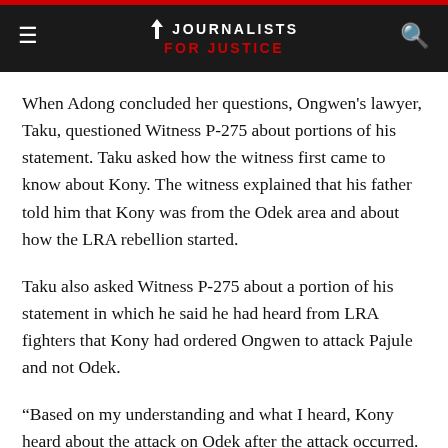JOURNALISTS FOR JUSTICE
When Adong concluded her questions, Ongwen's lawyer, Taku, questioned Witness P-275 about portions of his statement. Taku asked how the witness first came to know about Kony. The witness explained that his father told him that Kony was from the Odek area and about how the LRA rebellion started.
Taku also asked Witness P-275 about a portion of his statement in which he said he had heard from LRA fighters that Kony had ordered Ongwen to attack Pajule and not Odek.
“Based on my understanding and what I heard, Kony heard about the attack on Odek after the attack occurred. He did not know before,” said Witness P-275.